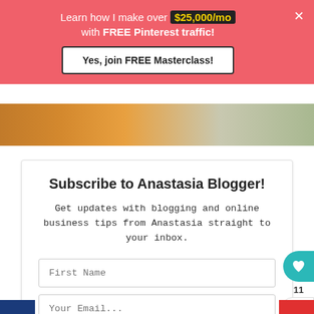Learn how I make over $25,000/mo with FREE Pinterest traffic!
Yes, join FREE Masterclass!
[Figure (photo): Food image strip showing cooked dish]
Subscribe to Anastasia Blogger!
Get updates with blogging and online business tips from Anastasia straight to your inbox.
First Name
Your Email...